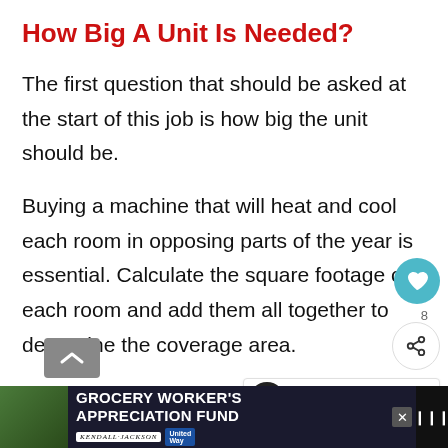How Big A Unit Is Needed?
The first question that should be asked at the start of this job is how big the unit should be.
Buying a machine that will heat and cool each room in opposing parts of the year is essential. Calculate the square footage of each room and add them all together to determine the coverage area.
[Figure (screenshot): Advertisement banner for Grocery Worker's Appreciation Fund with Kendall-Jackson and United Way logos]